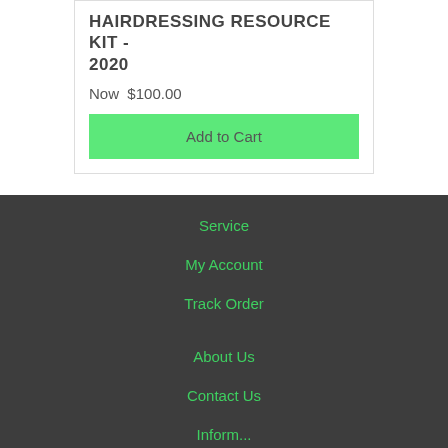HAIRDRESSING RESOURCE KIT - 2020
Now  $100.00
Add to Cart
Service
My Account
Track Order
About Us
Contact Us
Information